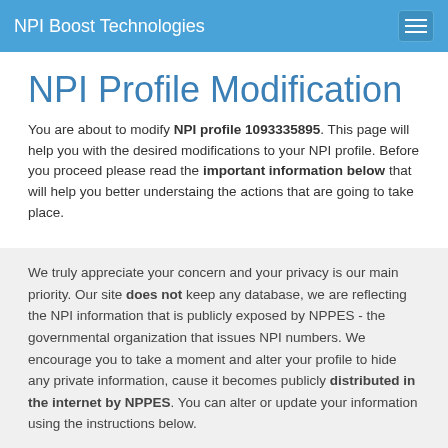NPI Boost Technologies
NPI Profile Modification
You are about to modify NPI profile 1093335895. This page will help you with the desired modifications to your NPI profile. Before you proceed please read the important information below that will help you better understaing the actions that are going to take place.
We truly appreciate your concern and your privacy is our main priority. Our site does not keep any database, we are reflecting the NPI information that is publicly exposed by NPPES - the governmental organization that issues NPI numbers. We encourage you to take a moment and alter your profile to hide any private information, cause it becomes publicly distributed in the internet by NPPES. You can alter or update your information using the instructions below.